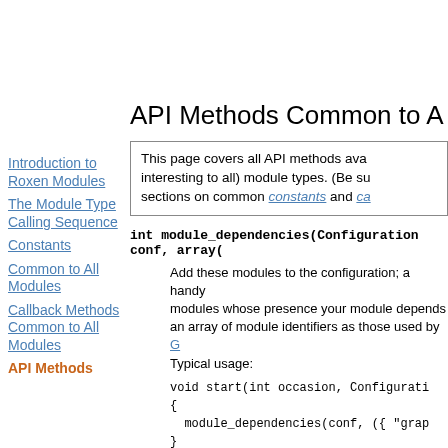API Methods Common to A...
This page covers all API methods ava... interesting to all) module types. (Be su... sections on common constants and ca...
int module_dependencies(Configuration conf, array(...
Add these modules to the configuration; a handy... modules whose presence your module depends... an array of module identifiers as those used by G... Typical usage:
void start(int occasion, Configurati...
{
  module_dependencies(conf, ({ "grap...
}
mapping(string:function(RequestID:void)|array(funct... query_action_buttons (RequestID id)
Optional callback for adding action buttons to the... settings page; convenient for triggering modu...
Introduction to Roxen Modules
The Module Type Calling Sequence
Constants
Common to All Modules
Callback Methods Common to All Modules
API Methods